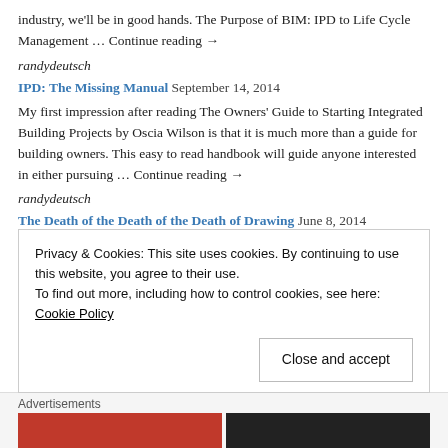industry, we'll be in good hands. The Purpose of BIM: IPD to Life Cycle Management … Continue reading →
randydeutsch
IPD: The Missing Manual  September 14, 2014
My first impression after reading The Owners' Guide to Starting Integrated Building Projects by Oscia Wilson is that it is much more than a guide for building owners. This easy to read handbook will guide anyone interested in either pursuing … Continue reading →
randydeutsch
The Death of the Death of the Death of Drawing  June 8, 2014
Drawing is far from over. It's not even close to dead. Not by a long shot. Just to make sure, I just tweeted: 'Is drawing dead?' Death of Drawing anyone? Case Inc's @davidfano immediately tweeted back: no 🙂
Privacy & Cookies: This site uses cookies. By continuing to use this website, you agree to their use.
To find out more, including how to control cookies, see here: Cookie Policy
Close and accept
Advertisements